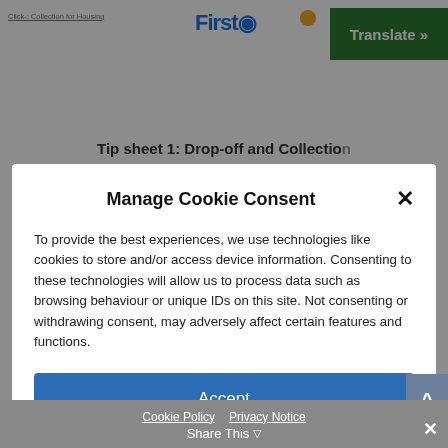[Figure (screenshot): Top navigation bar with small text link on left, FirstStar logo in center, and green Translate button on right]
Tip sheet 1: Drop-off and Collection
Manage Cookie Consent
To provide the best experiences, we use technologies like cookies to store and/or access device information. Consenting to these technologies will allow us to process data such as browsing behaviour or unique IDs on this site. Not consenting or withdrawing consent, may adversely affect certain features and functions.
Accept
Deny
View preferences
Cookie Policy  Privacy Notice  Share This  ×